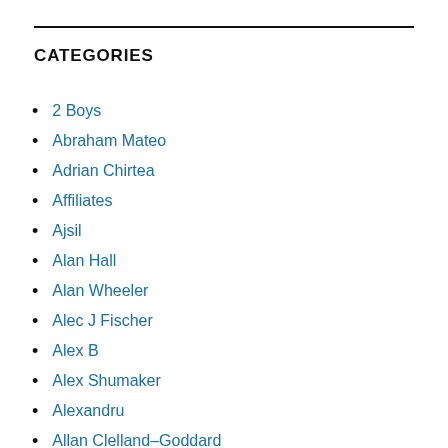CATEGORIES
2 Boys
Abraham Mateo
Adrian Chirtea
Affiliates
Ajsil
Alan Hall
Alan Wheeler
Alec J Fischer
Alex B
Alex Shumaker
Alexandru
Allan Clelland-Goddard
Andrew Muccitelli